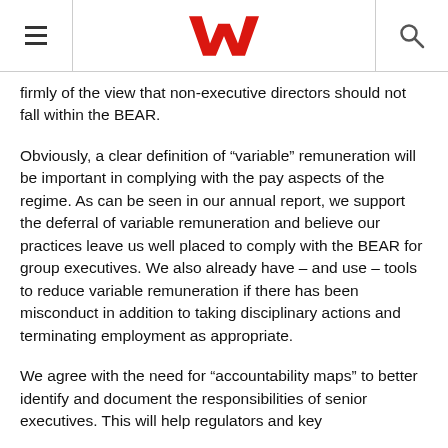[Westpac logo, navigation hamburger menu, search icon]
firmly of the view that non-executive directors should not fall within the BEAR.
Obviously, a clear definition of “variable” remuneration will be important in complying with the pay aspects of the regime. As can be seen in our annual report, we support the deferral of variable remuneration and believe our practices leave us well placed to comply with the BEAR for group executives. We also already have – and use – tools to reduce variable remuneration if there has been misconduct in addition to taking disciplinary actions and terminating employment as appropriate.
We agree with the need for “accountability maps” to better identify and document the responsibilities of senior executives. This will help regulators and key